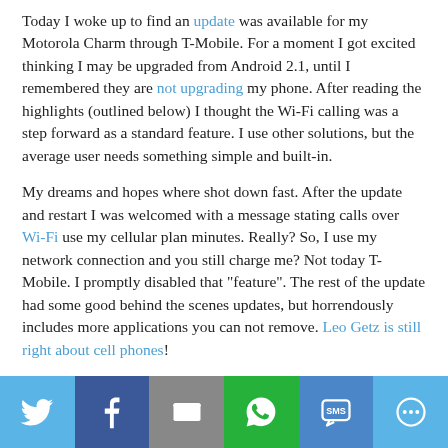Today I woke up to find an update was available for my Motorola Charm through T-Mobile. For a moment I got excited thinking I may be upgraded from Android 2.1, until I remembered they are not upgrading my phone. After reading the highlights (outlined below) I thought the Wi-Fi calling was a step forward as a standard feature. I use other solutions, but the average user needs something simple and built-in.
My dreams and hopes where shot down fast. After the update and restart I was welcomed with a message stating calls over Wi-Fi use my cellular plan minutes. Really? So, I use my network connection and you still charge me? Not today T-Mobile. I promptly disabled that "feature". The rest of the update had some good behind the scenes updates, but horrendously includes more applications you can not remove. Leo Getz is still right about cell phones!
Wi-Fi calling - Added Wi-Fi calling, a solution for coverage issues in and around the home or wherever
[Figure (infographic): Social sharing bar with Twitter, Facebook, Email, WhatsApp, SMS, and More buttons]